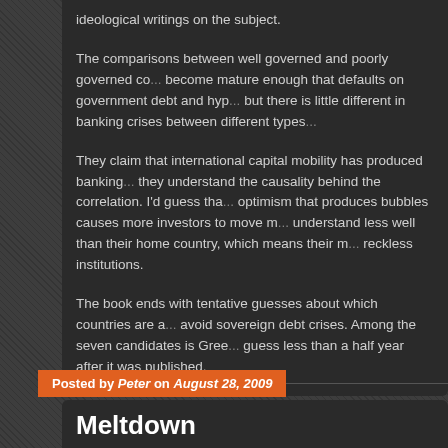ideological writings on the subject.
The comparisons between well governed and poorly governed co... become mature enough that defaults on government debt and hyp... but there is little different in banking crises between different types...
They claim that international capital mobility has produced banking... they understand the causality behind the correlation. I'd guess tha... optimism that produces bubbles causes more investors to move m... understand less well than their home country, which means their m... reckless institutions.
The book ends with tentative guesses about which countries are a... avoid sovereign debt crises. Among the seven candidates is Gree... guess less than a half year after it was published.
Posted by Peter on August 28, 2009
Meltdown
Posted in: Book Reviews, Economics, U.S. Politics. Tagged: austrian econom...